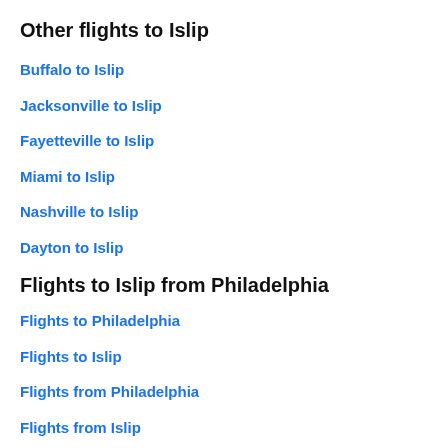Other flights to Islip
Buffalo to Islip
Jacksonville to Islip
Fayetteville to Islip
Miami to Islip
Nashville to Islip
Dayton to Islip
Flights to Islip from Philadelphia
Flights to Philadelphia
Flights to Islip
Flights from Philadelphia
Flights from Islip